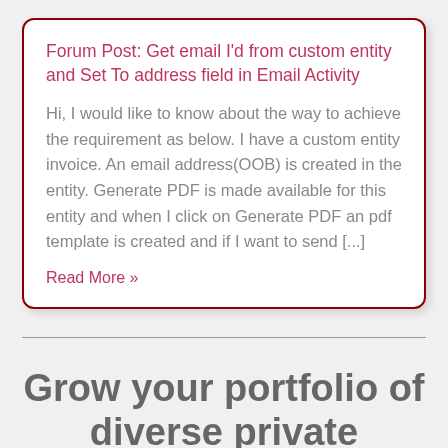Forum Post: Get email I'd from custom entity and Set To address field in Email Activity
Hi, I would like to know about the way to achieve the requirement as below. I have a custom entity invoice. An email address(OOB) is created in the entity. Generate PDF is made available for this entity and when I click on Generate PDF an pdf template is created and if I want to send [...]
Read More »
Grow your portfolio of diverse private company shares